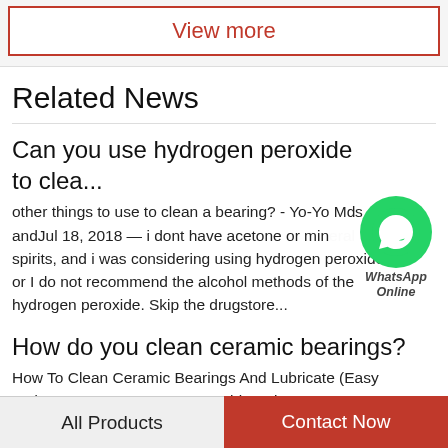View more
Related News
Can you use hydrogen peroxide to clea...
other things to use to clean a bearing? - Yo-Yo Mds andJul 18, 2018 — i dont have acetone or mineral spirits, and i was considering using hydrogen peroxide or I do not recommend the alcohol methods of the hydrogen peroxide. Skip the drugstore...
[Figure (logo): WhatsApp Online badge - green circle with phone handset icon, text 'WhatsApp Online' in italic]
How do you clean ceramic bearings?
How To Clean Ceramic Bearings And Lubricate (Easy andAug 25, 2020 — Put your rubber gloves on your
All Products    Contact Now